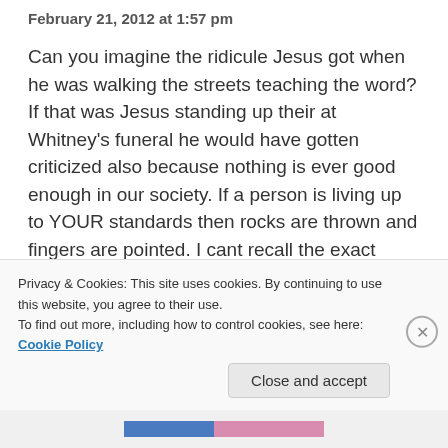February 21, 2012 at 1:57 pm
Can you imagine the ridicule Jesus got when he was walking the streets teaching the word? If that was Jesus standing up their at Whitney's funeral he would have gotten criticized also because nothing is ever good enough in our society. If a person is living up to YOUR standards then rocks are thrown and fingers are pointed. I cant recall the exact verse in the bible but i will speak in verbatim Peter was so worried about the sins of another person and expressed this to Jesus and Jesus basically said to
Privacy & Cookies: This site uses cookies. By continuing to use this website, you agree to their use.
To find out more, including how to control cookies, see here: Cookie Policy
Close and accept